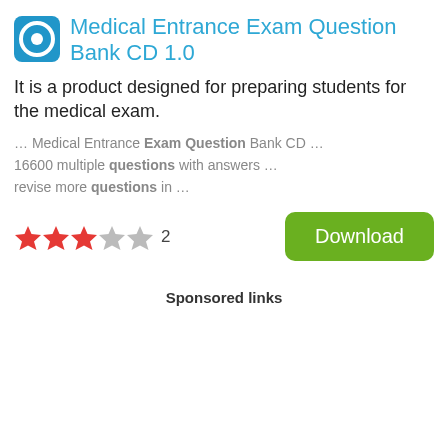Medical Entrance Exam Question Bank CD 1.0
It is a product designed for preparing students for the medical exam.
… Medical Entrance Exam Question Bank CD … 16600 multiple questions with answers … revise more questions in …
[Figure (other): Star rating: 3 out of 5 stars, 2 reviews, with a green Download button]
Sponsored links